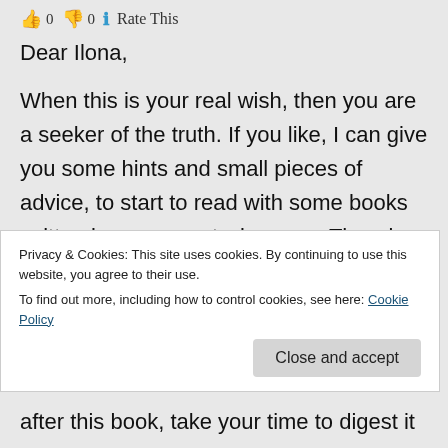👍 0 👎 0 ℹ Rate This
Dear Ilona,
When this is your real wish, then you are a seeker of the truth. If you like, I can give you some hints and small pieces of advice, to start to read with some books written by very great wise men. They, in fact, have given a living example with their life, how to live in this world, be it Christ, Buddha, Kabir, Guru Nanak, Baba Jaimal Singh,
Privacy & Cookies: This site uses cookies. By continuing to use this website, you agree to their use. To find out more, including how to control cookies, see here: Cookie Policy
after this book, take your time to digest it